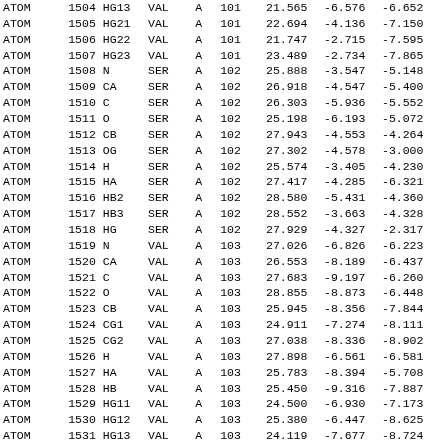| Record | Serial | Name | ResName | Chain | ResSeq | X | Y | Z | ... |
| --- | --- | --- | --- | --- | --- | --- | --- | --- | --- |
| ATOM | 1504 | HG13 | VAL | A | 101 | 21.565 | -6.576 | -6.652 |  |
| ATOM | 1505 | HG21 | VAL | A | 101 | 22.694 | -4.136 | -7.150 |  |
| ATOM | 1506 | HG22 | VAL | A | 101 | 21.747 | -2.715 | -7.595 |  |
| ATOM | 1507 | HG23 | VAL | A | 101 | 23.489 | -2.734 | -7.865 |  |
| ATOM | 1508 | N | SER | A | 102 | 25.888 | -3.547 | -5.148 |  |
| ATOM | 1509 | CA | SER | A | 102 | 26.918 | -4.547 | -5.400 |  |
| ATOM | 1510 | C | SER | A | 102 | 26.303 | -5.936 | -5.552 |  |
| ATOM | 1511 | O | SER | A | 102 | 25.198 | -6.193 | -5.072 |  |
| ATOM | 1512 | CB | SER | A | 102 | 27.943 | -4.553 | -4.264 |  |
| ATOM | 1513 | OG | SER | A | 102 | 27.302 | -4.578 | -3.000 |  |
| ATOM | 1514 | H | SER | A | 102 | 25.574 | -3.405 | -4.230 |  |
| ATOM | 1515 | HA | SER | A | 102 | 27.417 | -4.285 | -6.321 |  |
| ATOM | 1516 | HB2 | SER | A | 102 | 28.580 | -5.431 | -4.360 |  |
| ATOM | 1517 | HB3 | SER | A | 102 | 28.552 | -3.663 | -4.328 |  |
| ATOM | 1518 | HG | SER | A | 102 | 27.929 | -4.327 | -2.317 |  |
| ATOM | 1519 | N | VAL | A | 103 | 27.026 | -6.826 | -6.223 |  |
| ATOM | 1520 | CA | VAL | A | 103 | 26.553 | -8.189 | -6.437 |  |
| ATOM | 1521 | C | VAL | A | 103 | 27.683 | -9.197 | -6.260 |  |
| ATOM | 1522 | O | VAL | A | 103 | 28.855 | -8.873 | -6.448 |  |
| ATOM | 1523 | CB | VAL | A | 103 | 25.945 | -8.356 | -7.844 |  |
| ATOM | 1524 | CG1 | VAL | A | 103 | 24.911 | -7.274 | -8.111 |  |
| ATOM | 1525 | CG2 | VAL | A | 103 | 27.038 | -8.336 | -8.902 |  |
| ATOM | 1526 | H | VAL | A | 103 | 27.898 | -6.561 | -6.581 |  |
| ATOM | 1527 | HA | VAL | A | 103 | 25.783 | -8.394 | -5.708 |  |
| ATOM | 1528 | HB | VAL | A | 103 | 25.450 | -9.316 | -7.887 |  |
| ATOM | 1529 | HG11 | VAL | A | 103 | 24.500 | -6.930 | -7.173 |  |
| ATOM | 1530 | HG12 | VAL | A | 103 | 25.380 | -6.447 | -8.625 |  |
| ATOM | 1531 | HG13 | VAL | A | 103 | 24.119 | -7.677 | -8.724 |  |
| ATOM | 1532 | HG21 | VAL | A | 103 | 27.974 | -8.050 | -8.447 |  |
| ATOM | 1533 | HG22 | VAL | A | 103 | 27.135 | -9.319 | -9.338 |  |
| ATOM | 1534 | HG23 | VAL | A | 103 | 26.780 | -7.622 | -9.672 |  |